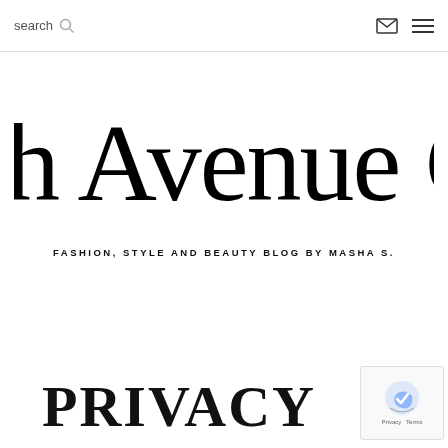search [search icon] [mail icon] [menu icon]
[Figure (logo): Fifth Avenue Girl — handwritten/brush script logo with decorative lettering in black]
FASHION, STYLE AND BEAUTY BLOG BY MASHA S.
PRIVACY
[Figure (other): reCAPTCHA / Privacy Terms badge in bottom right corner]